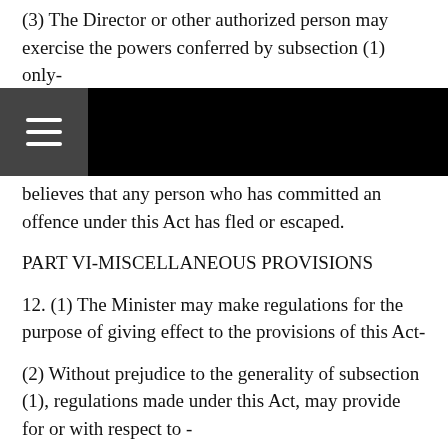(3) The Director or other authorized person may exercise the powers conferred by subsection (1) only-
(a) on the business premises of any licensee; or
believes that any person who has committed an offence under this Act has fled or escaped.
PART VI-MISCELLANEOUS PROVISIONS
12. (1) The Minister may make regulations for the purpose of giving effect to the provisions of this Act-
(2) Without prejudice to the generality of subsection (1), regulations made under this Act, may provide for or with respect to -
(a) the purchase, sale and possession of diamonds and the safekeeping of those diamonds;
(b) the prevention of illegal acts relating to diamonds;